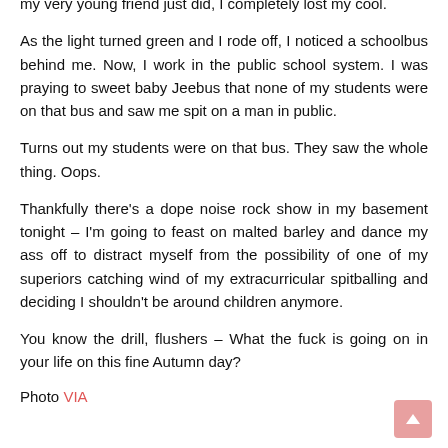my very young friend just did, I completely lost my cool.
As the light turned green and I rode off, I noticed a schoolbus behind me. Now, I work in the public school system. I was praying to sweet baby Jeebus that none of my students were on that bus and saw me spit on a man in public.
Turns out my students were on that bus. They saw the whole thing. Oops.
Thankfully there's a dope noise rock show in my basement tonight – I'm going to feast on malted barley and dance my ass off to distract myself from the possibility of one of my superiors catching wind of my extracurricular spitballing and deciding I shouldn't be around children anymore.
You know the drill, flushers – What the fuck is going on in your life on this fine Autumn day?
Photo VIA